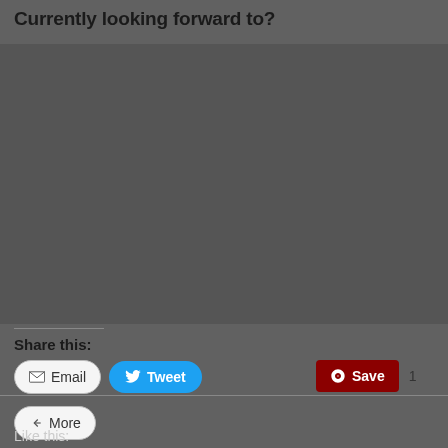Currently looking forward to?
Share this:
Email  Tweet  Save  1  More
Like this: